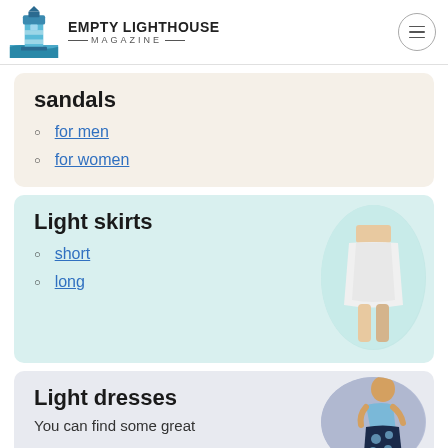Empty Lighthouse Magazine
sandals
for men
for women
Light skirts
short
long
[Figure (photo): Woman wearing a white light skirt]
Light dresses
You can find some great
[Figure (photo): Woman wearing a light floral dress]